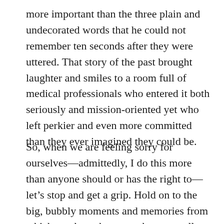more important than the three plain and undecorated words that he could not remember ten seconds after they were uttered. That story of the past brought laughter and smiles to a room full of medical professionals who entered it both seriously and mission-oriented yet who left perkier and even more committed than they ever imagined they could be.
So, when we are feeling sorry for ourselves—admittedly, I do this more than anyone should or has the right to— let's stop and get a grip. Hold on to the big, bubbly moments and memories from which we draw the strength to start all over again. That is our mission really,